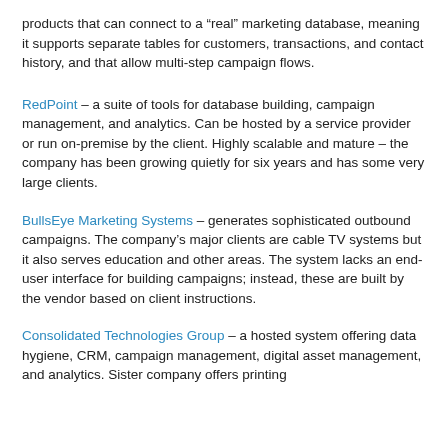products that can connect to a “real” marketing database, meaning it supports separate tables for customers, transactions, and contact history, and that allow multi-step campaign flows.
RedPoint – a suite of tools for database building, campaign management, and analytics. Can be hosted by a service provider or run on-premise by the client. Highly scalable and mature – the company has been growing quietly for six years and has some very large clients.
BullsEye Marketing Systems – generates sophisticated outbound campaigns. The company’s major clients are cable TV systems but it also serves education and other areas. The system lacks an end-user interface for building campaigns; instead, these are built by the vendor based on client instructions.
Consolidated Technologies Group – a hosted system offering data hygiene, CRM, campaign management, digital asset management, and analytics. Sister company offers printing